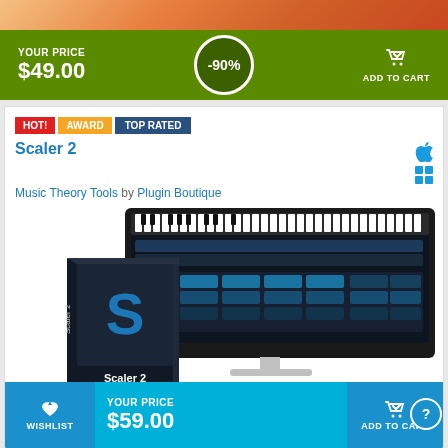[Figure (screenshot): Top colored gradient banner (orange/red tones, decorative)]
YOUR PRICE
$49.00
-90%
ADD TO CART
HOT! AWARD TOP RATED
Scaler 2
Music Theory Tools by Plugin Boutique
[Figure (screenshot): Scaler 2 product image showing software box and monitor display of the plugin interface with piano keys and chord pads]
WISHLIST
YOUR PRICE
$59.00
ADD TO CART